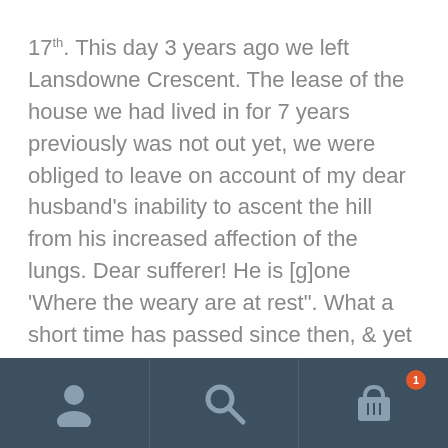17th. This day 3 years ago we left Lansdowne Crescent. The lease of the house we had lived in for 7 years previously was not out yet, we were obliged to leave on account of my dear husband's inability to ascent the hill from his increased affection of the lungs. Dear sufferer! He is [g]one 'Where the weary are at rest". What a short time has passed since then, & yet how many changes have taken place! What may  be the next scene God only knows; yet is He too wise to err, too good to be unkind. Oh! dear God, be graciously pleased to bear & answer prayer; remember me in this my low state, make crooked places straight, & rough
[Figure (other): Mobile app navigation bar with three icons: user/profile icon, search/magnifying glass icon, and shopping basket/cart icon with a badge showing a number]